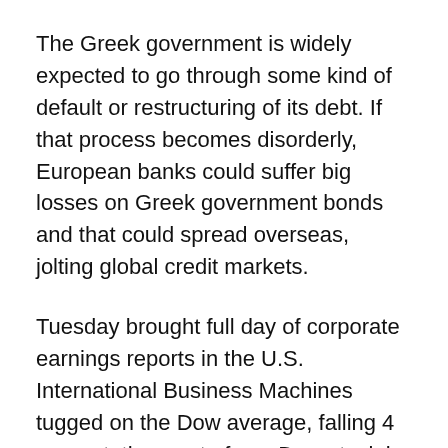The Greek government is widely expected to go through some kind of default or restructuring of its debt. If that process becomes disorderly, European banks could suffer big losses on Greek government bonds and that could spread overseas, jolting global credit markets.
Tuesday brought full day of corporate earnings reports in the U.S. International Business Machines tugged on the Dow average, falling 4 percent, the most of any Dow stock by far. IBM reported quarterly revenues that fell short of Wall Street estimates.
UnitedHealth Group Inc. fell 5 percent after its third-quarter profit dipped. The country's largest health